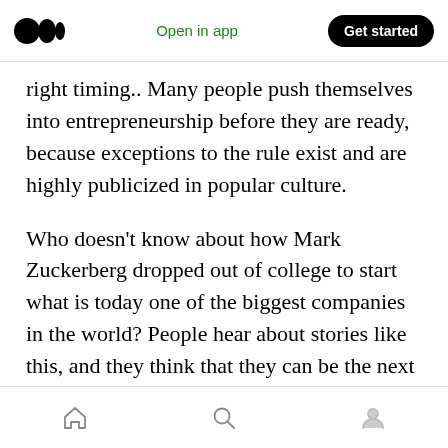Open in app | Get started
right timing.. Many people push themselves into entrepreneurship before they are ready, because exceptions to the rule exist and are highly publicized in popular culture.
Who doesn't know about how Mark Zuckerberg dropped out of college to start what is today one of the biggest companies in the world? People hear about stories like this, and they think that they can be the next outlier, partly because their social media feed convinces them that it's possible, and partly because they want to escape
Home | Search | Profile